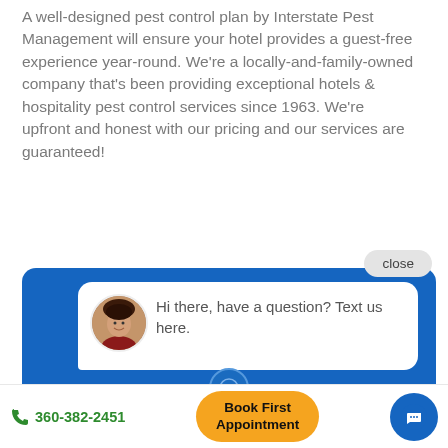A well-designed pest control plan by Interstate Pest Management will ensure your hotel provides a guest-free experience year-round. We're a locally-and-family-owned company that's been providing exceptional hotels & hospitality pest control services since 1963. We're upfront and honest with our pricing and our services are guaranteed!
[Figure (screenshot): Chat widget screenshot showing a blue background chat box with a close button, a circular avatar of a woman, and a white speech bubble saying 'Hi there, have a question? Text us here.']
close
Hi there, have a question? Text us here.
360-382-2451
Book First Appointment